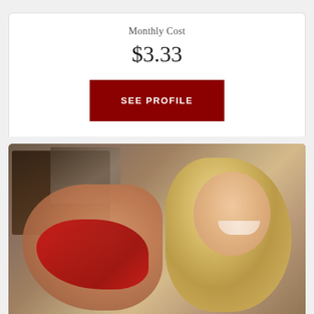Monthly Cost
$3.33
SEE PROFILE
[Figure (photo): Blonde woman wearing red lingerie posing in a bedroom setting with blurred background showing a dark wood dresser and mirror]